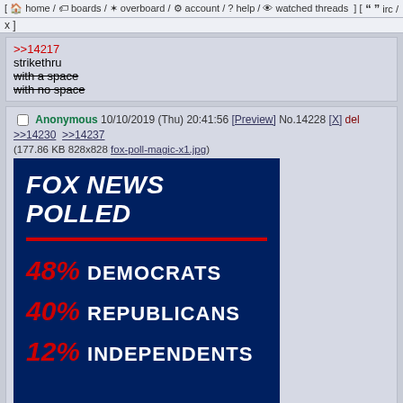[ home / boards / overboard / account / ? help / watched threads ] [ 99 irc / ]
twitter ]
>>14217
strikethru
with a space
with no space
Anonymous 10/10/2019 (Thu) 20:41:56 [Preview] No.14228 [X] del >>14230 >>14237
(177.86 KB 828x828 fox-poll-magic-x1.jpg)
[Figure (infographic): Fox News polled graphic showing: 48% Democrats, 40% Republicans, 12% Independents on a dark navy background with red accent line and red percentage numbers]